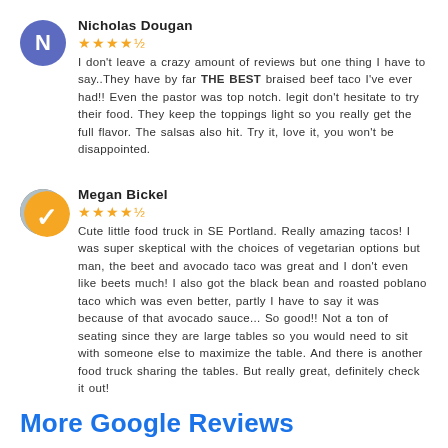Nicholas Dougan — 4.5 stars — I don't leave a crazy amount of reviews but one thing I have to say..They have by far THE BEST braised beef taco I've ever had!! Even the pastor was top notch. legit don't hesitate to try their food. They keep the toppings light so you really get the full flavor. The salsas also hit. Try it, love it, you won't be disappointed.
Megan Bickel — 4.5 stars — Cute little food truck in SE Portland. Really amazing tacos! I was super skeptical with the choices of vegetarian options but man, the beet and avocado taco was great and I don't even like beets much! I also got the black bean and roasted poblano taco which was even better, partly I have to say it was because of that avocado sauce... So good!! Not a ton of seating since they are large tables so you would need to sit with someone else to maximize the table. And there is another food truck sharing the tables. But really great, definitely check it out!
More Google Reviews